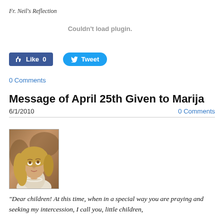Fr. Neil's Reflection
Couldn't load plugin.
[Figure (screenshot): Facebook Like button showing 0 likes]
[Figure (screenshot): Twitter Tweet button]
0 Comments
Message of April 25th Given to Marija
6/1/2010
0 Comments
[Figure (photo): Photo of Marija, a woman with curly blonde hair looking upward, wearing white clothing and a pearl necklace]
“Dear children! At this time, when in a special way you are praying and seeking my intercession, I call you, little children, to pray...